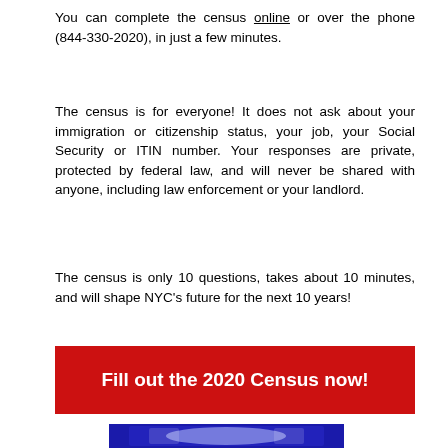You can complete the census online or over the phone (844-330-2020), in just a few minutes.
The census is for everyone! It does not ask about your immigration or citizenship status, your job, your Social Security or ITIN number. Your responses are private, protected by federal law, and will never be shared with anyone, including law enforcement or your landlord.
The census is only 10 questions, takes about 10 minutes, and will shape NYC's future for the next 10 years!
Fill out the 2020 Census now!
[Figure (other): QR code image with blue background, partially visible at bottom of page]